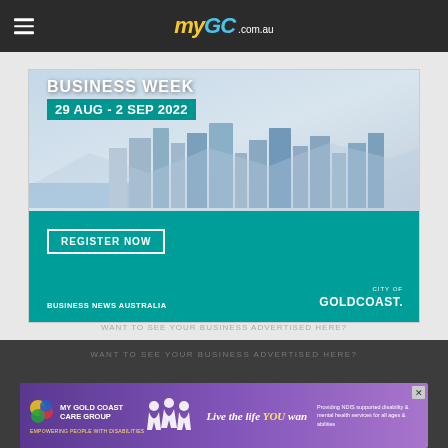myGC.com.au
[Figure (advertisement): Business Week advertisement: 29 AUG - 2 SEP 2022. REGISTER NOW. Business News Australia. City of Gold Coast. Gold Coast city skyline aerial photo with teal background.]
WANT TO SEE YOUR BUSINESS ADVERTISED HERE?
WANT TO SEE YOUR BUSINESS ADVERTISED HERE?
[Figure (advertisement): My Gold Coast Care Group - Providing NDIS supported disability & mental health services for all ages & abilities. Empowering people with disabilities. Live the life YOU want.]